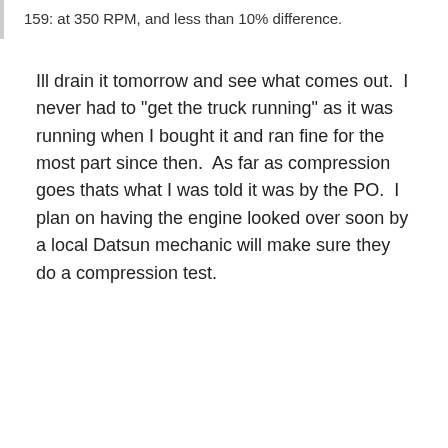159: at 350 RPM, and less than 10% difference.
Ill drain it tomorrow and see what comes out. I never had to "get the truck running" as it was running when I bought it and ran fine for the most part since then. As far as compression goes thats what I was told it was by the PO. I plan on having the engine looked over soon by a local Datsun mechanic will make sure they do a compression test.
+ Quote
♥ 1
Replies   Created   Last Reply
Important Information
By using this site, you agree to our Terms of Use.
✓ I accept